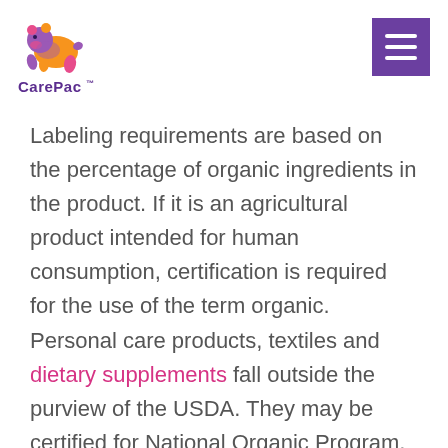CarePac™
Labeling requirements are based on the percentage of organic ingredients in the product. If it is an agricultural product intended for human consumption, certification is required for the use of the term organic. Personal care products, textiles and dietary supplements fall outside the purview of the USDA. They may be certified for National Organic Program, but are not required by law.[1]